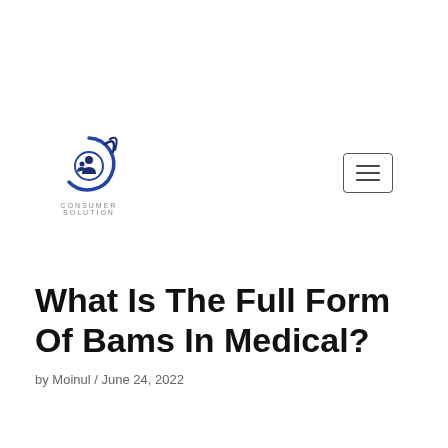[Figure (logo): Consumer Solution logo: circular blue swirl with person icon, text CONSUMER SOLUTION below]
What Is The Full Form Of Bams In Medical?
by Moinul / June 24, 2022